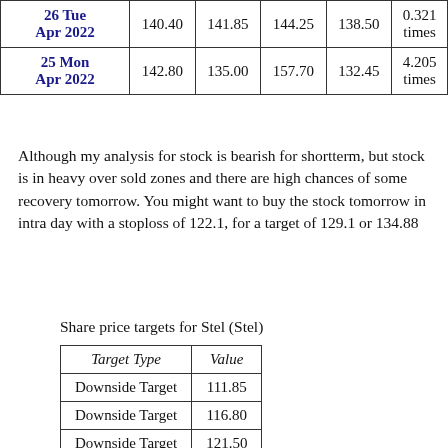| Date |  |  |  |  | times |
| --- | --- | --- | --- | --- | --- |
| 26 Tue Apr 2022 | 140.40 | 141.85 | 144.25 | 138.50 | 0.321 times |
| 25 Mon Apr 2022 | 142.80 | 135.00 | 157.70 | 132.45 | 4.205 times |
Although my analysis for stock is bearish for shortterm, but stock is in heavy over sold zones and there are high chances of some recovery tomorrow. You might want to buy the stock tomorrow in intra day with a stoploss of 122.1, for a target of 129.1 or 134.88
Share price targets for Stel (Stel)
| Target Type | Value |
| --- | --- |
| Downside Target | 111.85 |
| Downside Target | 116.80 |
| Downside Target | 121.50 |
| Upside Target | 125.75 |
| Upside Target | 132.30 |
| Upside Target | 139.00 |